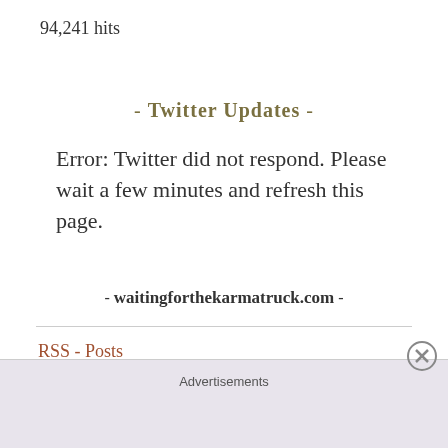94,241 hits
- Twitter Updates -
Error: Twitter did not respond. Please wait a few minutes and refresh this page.
- waitingforthekarmatruck.com -
RSS - Posts
Advertisements